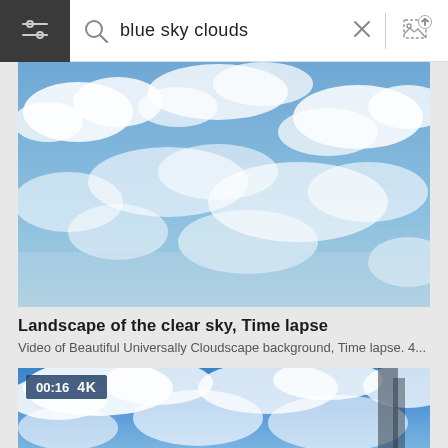[Figure (screenshot): Search bar UI with hamburger menu icon on dark background, magnifying glass icon, text input showing 'blue sky clouds', an X close button, divider, and image upload icon]
[Figure (photo): Blue sky with white clouds, landscape orientation, first search result thumbnail]
Landscape of the clear sky, Time lapse
Video of Beautiful Universally Cloudscape background, Time lapse. 4...
[Figure (photo): Blue sky with white clouds, second search result thumbnail with 00:16 4K video badge overlay]